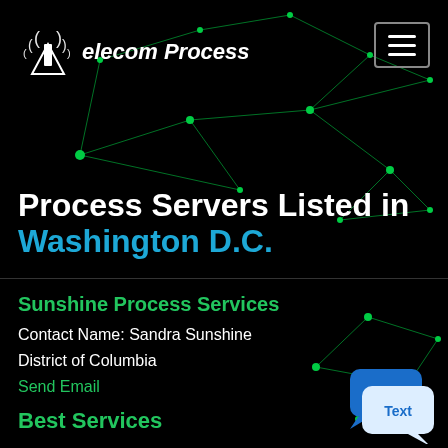[Figure (screenshot): Telecom Process website screenshot with dark background and green network node graph pattern. Logo with antenna icon and italic text 'elecom Process'. Hamburger menu button in top right corner.]
Process Servers Listed in Washington D.C.
Sunshine Process Services
Contact Name: Sandra Sunshine
District of Columbia
Send Email
Best Services